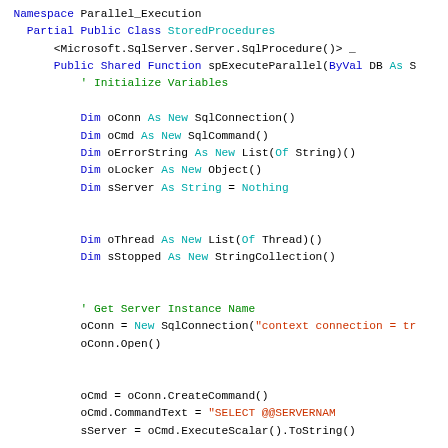[Figure (screenshot): VB.NET code snippet showing a Namespace Parallel_Execution with a StoredProcedures class containing a function spExecuteParallel with variable initializations and SQL connection setup.]